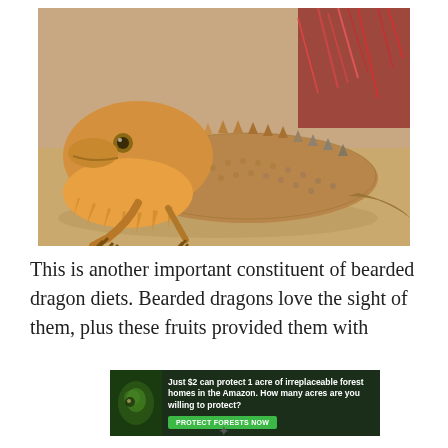[Figure (photo): A bearded dragon lizard resting on a sandy surface, facing the camera with its beard displayed, with reddish cactus spines visible in the background.]
This is another important constituent of bearded dragon diets. Bearded dragons love the sight of them, plus these fruits provided them with
[Figure (infographic): Advertisement banner with dark green background, showing a small animal image on the left, text reading 'Just $2 can protect 1 acre of irreplaceable forest homes in the Amazon. How many acres are you willing to protect?' and a green button labeled 'PROTECT FORESTS NOW'.]